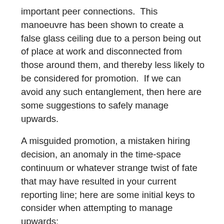important peer connections.  This manoeuvre has been shown to create a false glass ceiling due to a person being out of place at work and disconnected from those around them, and thereby less likely to be considered for promotion.  If we can avoid any such entanglement, then here are some suggestions to safely manage upwards.
A misguided promotion, a mistaken hiring decision, an anomaly in the time-space continuum or whatever strange twist of fate that may have resulted in your current reporting line; here are some initial keys to consider when attempting to manage upwards:
Strengthening the connection: Exerting